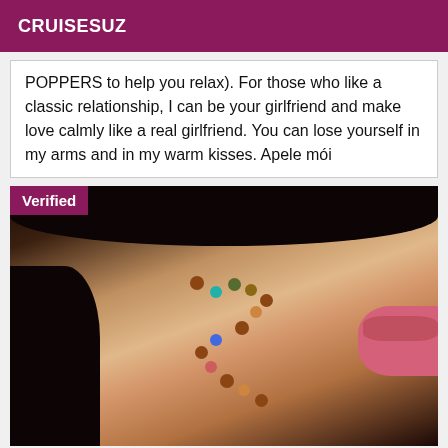CRUISESUZ
POPPERS to help you relax). For those who like a classic relationship, I can be your girlfriend and make love calmly like a real girlfriend. You can lose yourself in my arms and in my warm kisses. Apele mói
[Figure (photo): Close-up photo of a person wearing a black lace bra and a colorful beaded necklace, with a 'Verified' badge overlay in the top-left corner.]